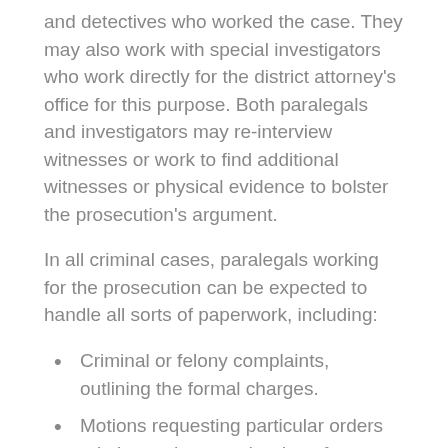and detectives who worked the case. They may also work with special investigators who work directly for the district attorney's office for this purpose. Both paralegals and investigators may re-interview witnesses or work to find additional witnesses or physical evidence to bolster the prosecution's argument.
In all criminal cases, paralegals working for the prosecution can be expected to handle all sorts of paperwork, including:
Criminal or felony complaints, outlining the formal charges.
Motions requesting particular orders relating to the case (such as for summary judgments or dismissals).